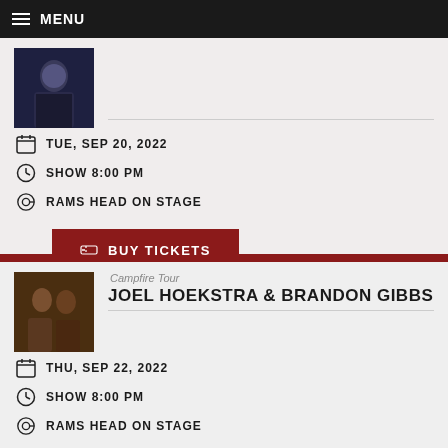MENU
TUE, SEP 20, 2022 | SHOW 8:00 PM | RAMS HEAD ON STAGE
BUY TICKETS
Campfire Tour
JOEL HOEKSTRA & BRANDON GIBBS
THU, SEP 22, 2022 | SHOW 8:00 PM | RAMS HEAD ON STAGE
BUY TICKETS